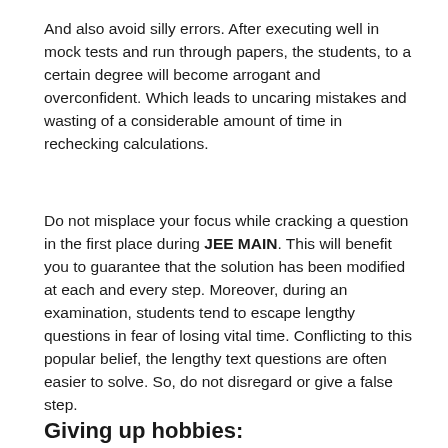And also avoid silly errors. After executing well in mock tests and run through papers, the students, to a certain degree will become arrogant and overconfident. Which leads to uncaring mistakes and wasting of a considerable amount of time in rechecking calculations.
Do not misplace your focus while cracking a question in the first place during JEE MAIN. This will benefit you to guarantee that the solution has been modified at each and every step. Moreover, during an examination, students tend to escape lengthy questions in fear of losing vital time. Conflicting to this popular belief, the lengthy text questions are often easier to solve. So, do not disregard or give a false step.
Giving up hobbies: